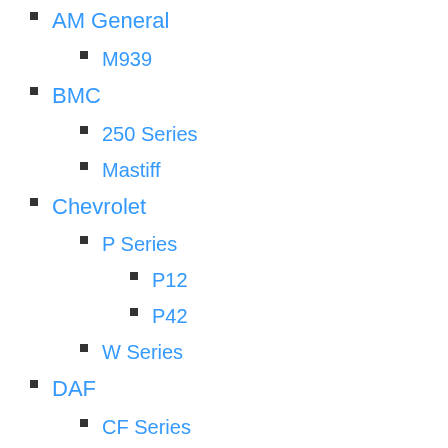AM General
M939
BMC
250 Series
Mastiff
Chevrolet
P Series
P12
P42
W Series
DAF
CF Series
CF 65
CF 75
CF 85
FA Series
FA 55
Leyland